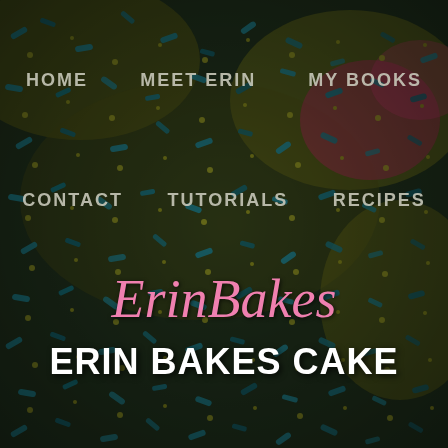[Figure (photo): Close-up overhead photo of colorful sprinkles (jimmies) in blue, gold/yellow, and pink colors scattered densely, forming the background of a baking blog website header.]
HOME    MEET ERIN    MY BOOKS
CONTACT    TUTORIALS    RECIPES
Erin Bakes
ERIN BAKES CAKE